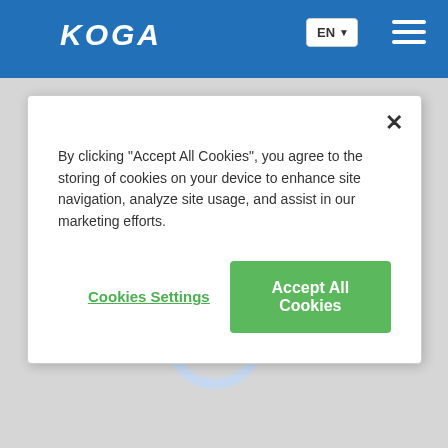[Figure (screenshot): KOGA website header with blue background, KOGA logo in white italic text on left, EN language dropdown button and hamburger menu icon on the right]
By clicking "Accept All Cookies", you agree to the storing of cookies on your device to enhance site navigation, analyze site usage, and assist in our marketing efforts.
Cookies Settings
Accept All Cookies
[Figure (illustration): Red Dot award logo - red swirl/droplet shape above text reading 'reddot winner 2022']
[Figure (illustration): Circular loading spinner, mostly light blue/grey ring with a dark blue arc segment at the top, indicating page loading]